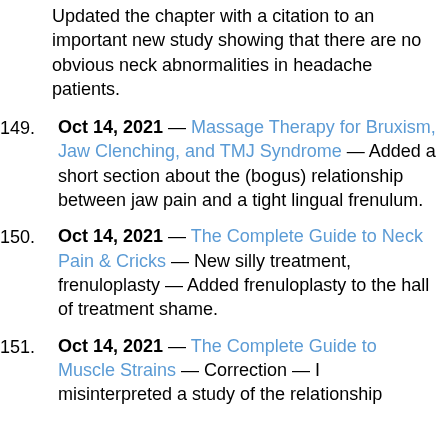Updated the chapter with a citation to an important new study showing that there are no obvious neck abnormalities in headache patients.
149. Oct 14, 2021 — Massage Therapy for Bruxism, Jaw Clenching, and TMJ Syndrome — Added a short section about the (bogus) relationship between jaw pain and a tight lingual frenulum.
150. Oct 14, 2021 — The Complete Guide to Neck Pain & Cricks — New silly treatment, frenuloplasty — Added frenuloplasty to the hall of treatment shame.
151. Oct 14, 2021 — The Complete Guide to Muscle Strains — Correction — I misinterpreted a study of the relationship